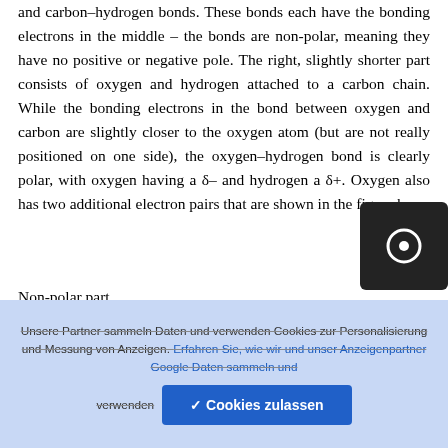and carbon–hydrogen bonds. These bonds each have the bonding electrons in the middle – the bonds are non-polar, meaning they have no positive or negative pole. The right, slightly shorter part consists of oxygen and hydrogen attached to a carbon chain. While the bonding electrons in the bond between oxygen and carbon are slightly closer to the oxygen atom (but are not really positioned on one side), the oxygen–hydrogen bond is clearly polar, with oxygen having a δ– and hydrogen a δ+. Oxygen also has two additional electron pairs that are shown in the figure be
Non-polar part
Unsere Partner sammeln Daten und verwenden Cookies zur Personalisierung und Messung von Anzeigen. Erfahren Sie, wie wir und unser Anzeigenpartner Google Daten sammeln und verwenden